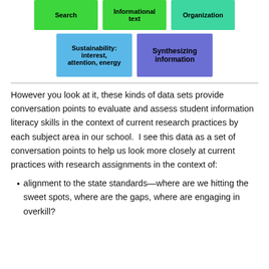[Figure (infographic): Row of colored boxes: green (Search), green (Informational text), teal (Organization), light blue (Sustainability: interest, attention, energy), medium blue (Synthesizing information)]
However you look at it, these kinds of data sets provide conversation points to evaluate and assess student information literacy skills in the context of current research practices by each subject area in our school.  I see this data as a set of conversation points to help us look more closely at current practices with research assignments in the context of:
alignment to the state standards—where are we hitting the sweet spots, where are the gaps, where are engaging in overkill?